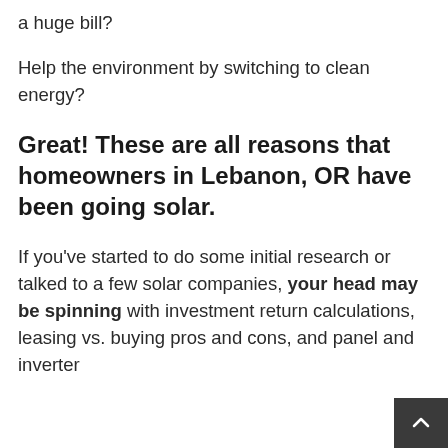a huge bill?
Help the environment by switching to clean energy?
Great! These are all reasons that homeowners in Lebanon, OR have been going solar.
If you've started to do some initial research or talked to a few solar companies, your head may be spinning with investment return calculations, leasing vs. buying pros and cons, and panel and inverter